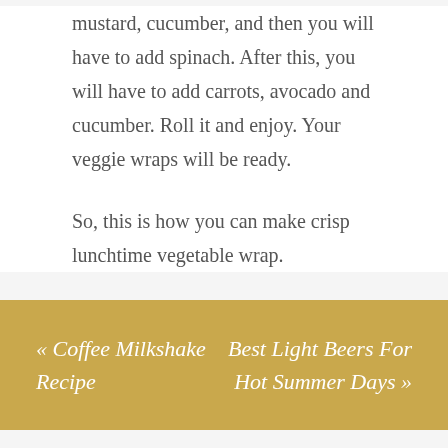mustard, cucumber, and then you will have to add spinach. After this, you will have to add carrots, avocado and cucumber. Roll it and enjoy. Your veggie wraps will be ready.

So, this is how you can make crisp lunchtime vegetable wrap.
« Coffee Milkshake Recipe
Best Light Beers For Hot Summer Days »
RELATED POSTS